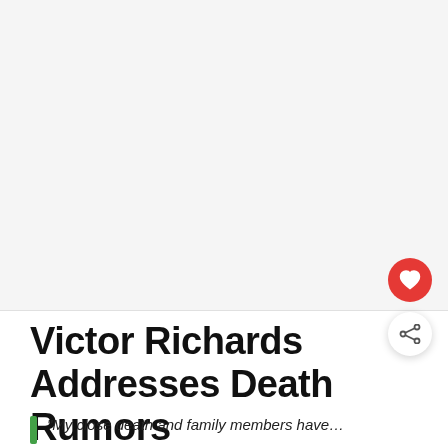[Figure (photo): Large light gray placeholder image area at the top of the page]
Victor Richards Addresses Death Rumors
“My close death and family members have…